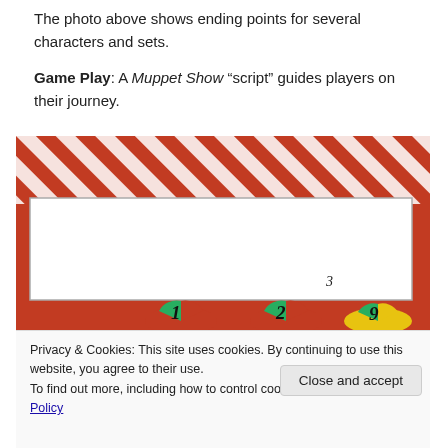The photo above shows ending points for several characters and sets.
Game Play: A Muppet Show “script” guides players on their journey.
[Figure (photo): Photo of a board game component showing a card with red and white diagonal stripes and numbered spinner sections with colored segments (red, green, yellow). Numbers 1, 2, 6, and 9 are visible.]
Privacy & Cookies: This site uses cookies. By continuing to use this website, you agree to their use.
To find out more, including how to control cookies, see here: Cookie Policy
[Figure (photo): Bottom portion of a board game component showing red, yellow and black numbered spinner segments. Numbers 8 visible.]